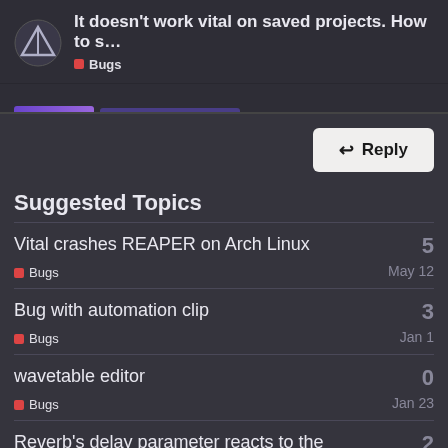It doesn't work vital on saved projects. How to s... | Bugs
Suggested Topics
Vital crashes REAPER on Arch Linux | Bugs | May 12 | 5 replies
Bug with automation clip | Bugs | Jan 1 | 3 replies
wavetable editor | Bugs | Jan 23 | 0 replies
Reverb's delay parameter reacts to the Mod Wheel | Bugs | Sep '21 | 2 replies